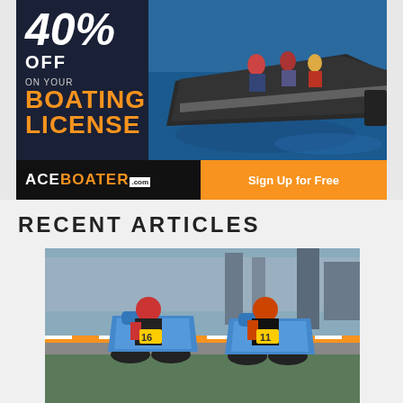[Figure (photo): Advertisement banner for AceBoater.com showing a motorboat on water with people, advertising 40% off on your boating license with a Sign Up for Free button]
RECENT ARTICLES
[Figure (photo): Two motorcycle racers leaning into a turn on a racing track, riding blue motorcycles with red and orange helmets]